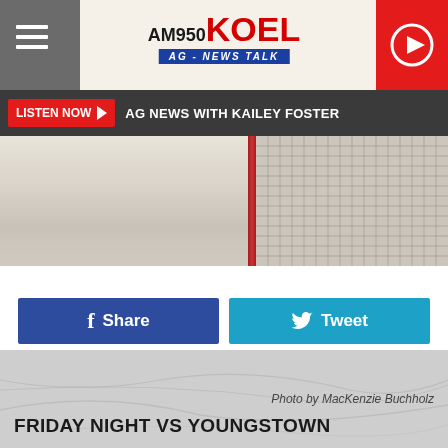AM 950 KOEL AG - NEWS TALK
LISTEN NOW ▶  AG NEWS WITH KAILEY FOSTER
[Figure (photo): Hockey net and ice rink surface, partial view showing net mesh and red post]
f  Share
🐦  Tweet
[Figure (photo): Close-up of ice rink surface with skate marks]
Photo by MacKenzie Buchholz
FRIDAY NIGHT VS YOUNGSTOWN